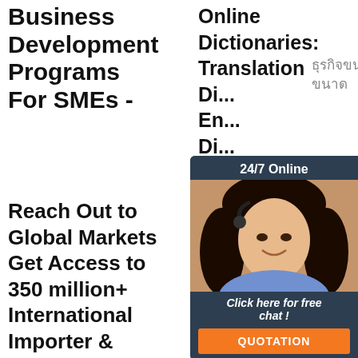Business Development Programs For SMEs -
ธุรกิจขนาดใย ,ขนาดกลาง ขนาด
Reach Out to Global Markets Get Access to 350 million+ International Importer & Supplier Database. For More Detail Please Call on SMEs Business Helpline 049...
[Figure (other): Orange Get Price button]
Online Dictionaries: Translation Di... En... Di... Fr... En... Sp... En... Sp... Portuguese English English Portuguese German English English German Portug...
[Figure (infographic): 24/7 Online chat widget with agent photo, 'Click here for free chat!' text, and QUOTATION button in orange. Dark navy background.]
[Figure (logo): TOP logo with orange dots/paw print style]